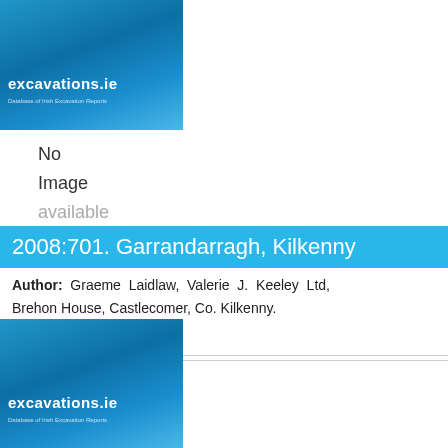[Figure (logo): excavations.ie logo - blue gradient background with white text]
No
Image
available
2008:701. Garrandarragh, Kilkenny
Author: Graeme Laidlaw, Valerie J. Keeley Ltd, Brehon House, Castlecomer, Co. Kilkenny.
Site type: Monitoring
License number: 08E0084
[Figure (logo): excavations.ie logo - blue gradient background with white text]
No
Image
available